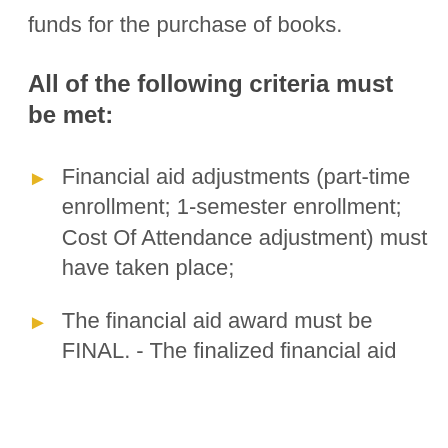funds for the purchase of books.
All of the following criteria must be met:
Financial aid adjustments (part-time enrollment; 1-semester enrollment; Cost Of Attendance adjustment) must have taken place;
The financial aid award must be FINAL. - The finalized financial aid